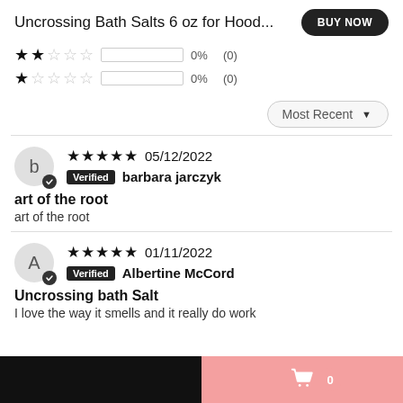Uncrossing Bath Salts 6 oz for Hood...
0%  (0)
0%  (0)
Most Recent
★★★★★ 05/12/2022  Verified  barbara jarczyk
art of the root
art of the root
★★★★★ 01/11/2022  Verified  Albertine McCord
Uncrossing bath Salt
I love the way it smells and it really do work